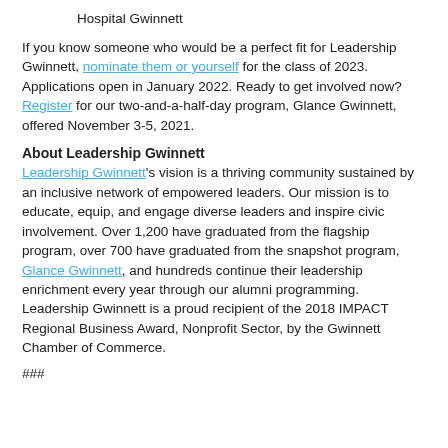Hospital Gwinnett
If you know someone who would be a perfect fit for Leadership Gwinnett, nominate them or yourself for the class of 2023. Applications open in January 2022. Ready to get involved now? Register for our two-and-a-half-day program, Glance Gwinnett, offered November 3-5, 2021.
About Leadership Gwinnett
Leadership Gwinnett's vision is a thriving community sustained by an inclusive network of empowered leaders. Our mission is to educate, equip, and engage diverse leaders and inspire civic involvement. Over 1,200 have graduated from the flagship program, over 700 have graduated from the snapshot program, Glance Gwinnett, and hundreds continue their leadership enrichment every year through our alumni programming. Leadership Gwinnett is a proud recipient of the 2018 IMPACT Regional Business Award, Nonprofit Sector, by the Gwinnett Chamber of Commerce.
###